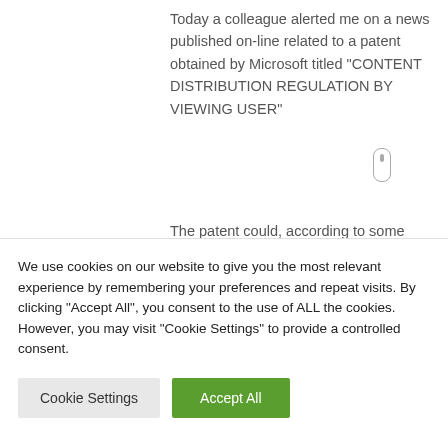Today a colleague alerted me on a news published on-line related to a patent obtained by Microsoft titled “CONTENT DISTRIBUTION REGULATION BY VIEWING USER”
The patent could, according to some experts, a clear violation of privacy because it uses technology to gather information on user’s consumption of video content.
We use cookies on our website to give you the most relevant experience by remembering your preferences and repeat visits. By clicking “Accept All”, you consent to the use of ALL the cookies. However, you may visit "Cookie Settings" to provide a controlled consent.